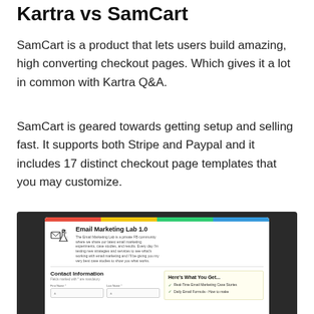Kartra vs SamCart
SamCart is a product that lets users build amazing, high converting checkout pages. Which gives it a lot in common with Kartra Q&A.
SamCart is geared towards getting setup and selling fast. It supports both Stripe and Paypal and it includes 17 distinct checkout page templates that you may customize.
[Figure (screenshot): Screenshot of a SamCart checkout page for 'Email Marketing Lab 1.0' showing a product description, contact information form with First Name and Last Name fields, and a 'Here's What You Get...' panel with checklist items including 'Real-Time Email Marketing Case Stories' and 'Daily Email Formula - How to make...']